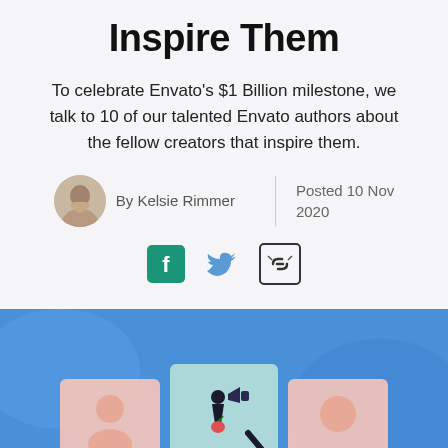Inspire Them
To celebrate Envato's $1 Billion milestone, we talk to 10 of our talented Envato authors about the fellow creators that inspire them.
By Kelsie Rimmer
Posted 10 Nov 2020
[Figure (illustration): Social share icons: Facebook (teal), Twitter (blue bird), and a link/chain icon in a bordered box]
[Figure (illustration): Blue background illustration showing a magnifying glass over creative content cards with a figure holding a megaphone]